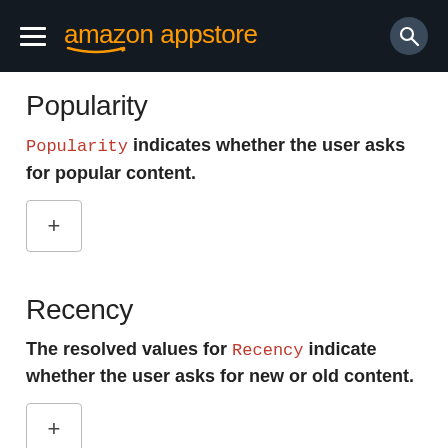amazon appstore
Popularity
Popularity indicates whether the user asks for popular content.
Recency
The resolved values for Recency indicate whether the user asks for new or old content.
VideoResolution
VideoResolution represents the requested